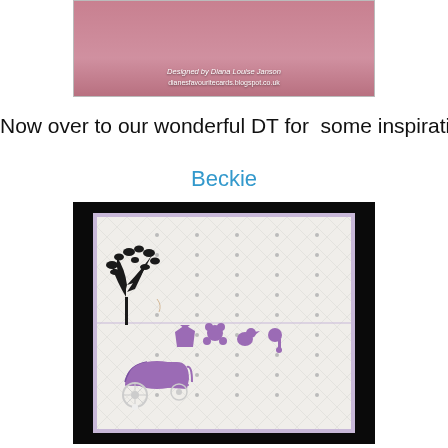[Figure (photo): Top partial photo showing a greeting card with text 'Designed by Diana Louise Janson' and 'dianesfavouritecards.blogspot.co.uk' on a pink/red background]
Now over to our wonderful DT for  some inspiration
Beckie
[Figure (photo): Photo of a handmade baby card with quilted white embossed background, black tree silhouette, purple baby items (clothing, teddy bear, duck, rattle) hanging as if on a washing line, and a purple/white vintage pram in the lower left corner. The card has a lavender border.]